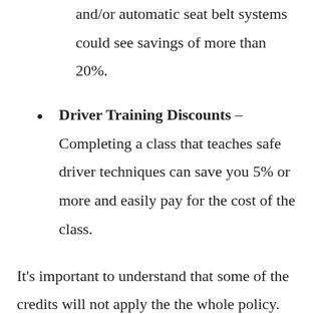and/or automatic seat belt systems could see savings of more than 20%.
Driver Training Discounts – Completing a class that teaches safe driver techniques can save you 5% or more and easily pay for the cost of the class.
It's important to understand that some of the credits will not apply the the whole policy. Most only cut specific coverage prices like liability and collision coverage. So even though you